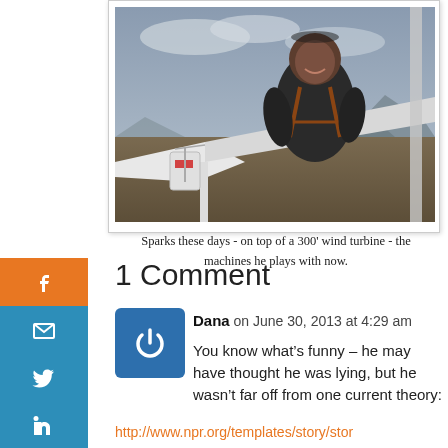[Figure (photo): A man in dark jacket and safety harness standing on top of a wind turbine, smiling at the camera. Sky and flat landscape visible in background.]
Sparks these days - on top of a 300' wind turbine - the machines he plays with now.
1 Comment
Dana on June 30, 2013 at 4:29 am
You know what’s funny – he may have thought he was lying, but he wasn’t far off from one current theory:
http://www.npr.org/templates/story/stor